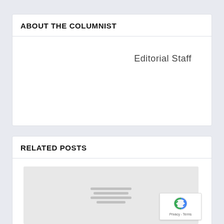ABOUT THE COLUMNIST
Editorial Staff
RELATED POSTS
[Figure (other): Placeholder image for a related post with grey background and grey horizontal lines indicating text, with a reCAPTCHA badge overlay in the bottom right corner]